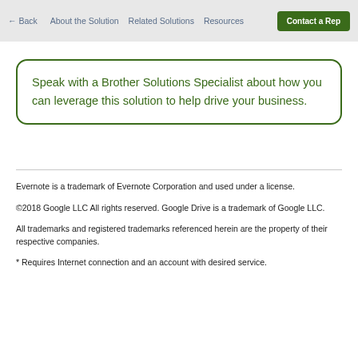← Back   About the Solution   Related Solutions   Resources   Contact a Rep
Speak with a Brother Solutions Specialist about how you can leverage this solution to help drive your business.
Evernote is a trademark of Evernote Corporation and used under a license.
©2018 Google LLC All rights reserved. Google Drive is a trademark of Google LLC.
All trademarks and registered trademarks referenced herein are the property of their respective companies.
* Requires Internet connection and an account with desired service.